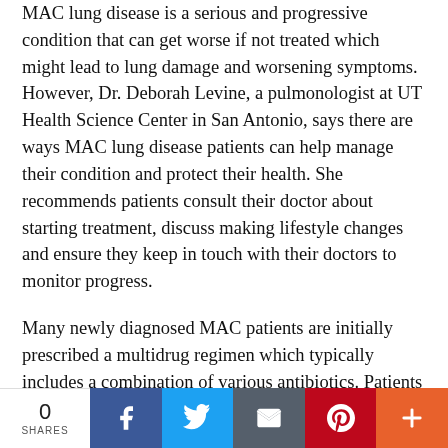MAC lung disease is a serious and progressive condition that can get worse if not treated which might lead to lung damage and worsening symptoms. However, Dr. Deborah Levine, a pulmonologist at UT Health Science Center in San Antonio, says there are ways MAC lung disease patients can help manage their condition and protect their health. She recommends patients consult their doctor about starting treatment, discuss making lifestyle changes and ensure they keep in touch with their doctors to monitor progress.
Many newly diagnosed MAC patients are initially prescribed a multidrug regimen which typically includes a combination of various antibiotics. Patients may remain on this regimen for months until they test negative for MAC lung disease, which is determined by a sputum test. A sputum test is a routine procedure for those living with the condition and it allows physicians to analyze a patient's
0 SHARES | Facebook | Twitter | Email | Pinterest | More